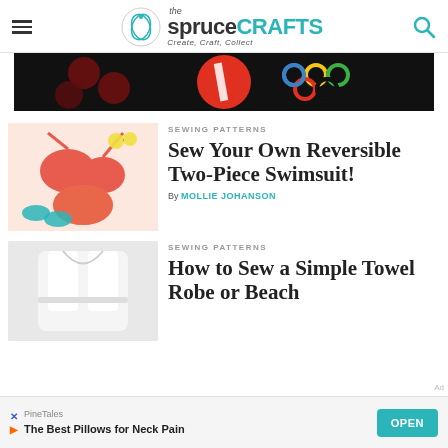the spruce CRAFTS — Create, Craft, Collect
[Figure (photo): Advertisement banner with black background, colorful circles and logos]
SEWING PATTERNS
Sew Your Own Reversible Two-Piece Swimsuit!
By MOLLIE JOHANSON
[Figure (photo): Photo of a coral/pink reversible two-piece swimsuit with sunglasses and flip flops]
SEWING PATTERNS
How to Sew a Simple Towel Robe or Beach
[Figure (photo): Photo of a white towel robe]
PineTales — The Best Pillows for Neck Pain — OPEN